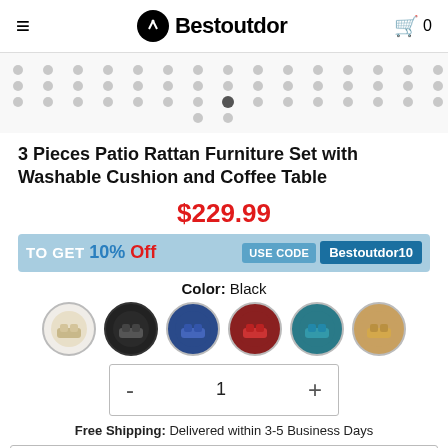Bestoutdor
[Figure (other): Dot carousel navigation indicator strip with grey circles]
3 Pieces Patio Rattan Furniture Set with Washable Cushion and Coffee Table
$229.99
[Figure (infographic): TO GET 10% Off USE CODE Bestoutdor10 coupon banner]
Color: Black
[Figure (other): Six color swatch circles: white/beige, black, blue, red, teal, tan/natural]
- 1 +
Free Shipping: Delivered within 3-5 Business Days
Add to Cart